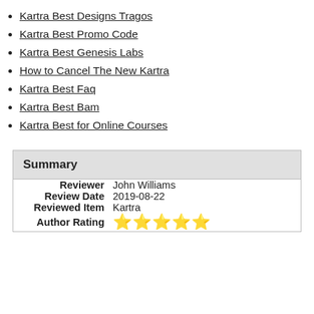Kartra Best Designs Tragos
Kartra Best Promo Code
Kartra Best Genesis Labs
How to Cancel The New Kartra
Kartra Best Faq
Kartra Best Bam
Kartra Best for Online Courses
| Summary |
| --- |
| Reviewer | John Williams |
| Review Date | 2019-08-22 |
| Reviewed Item | Kartra |
| Author Rating | ⭐⭐⭐⭐⭐ |